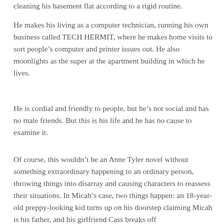cleaning his basement flat according to a rigid routine.
He makes his living as a computer technician, running his own business called TECH HERMIT, where he makes home visits to sort people’s computer and printer issues out. He also moonlights as the super at the apartment building in which he lives.
He is cordial and friendly to people, but he’s not social and has no male friends. But this is his life and he has no cause to examine it.
Of course, this wouldn’t be an Anne Tyler novel without something extraordinary happening to an ordinary person, throwing things into disarray and causing characters to reassess their situations. In Micah’s case, two things happen: an 18-year-old preppy-looking kid turns up on his doorstep claiming Micah is his father, and his girlfriend Cass breaks off